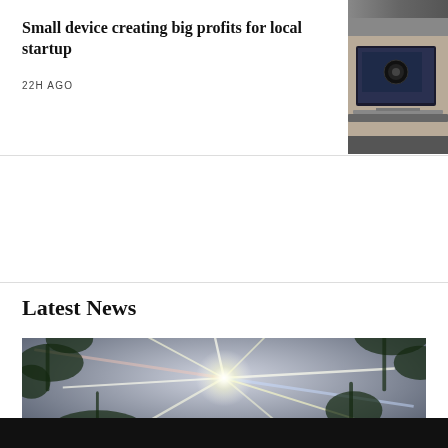[Figure (photo): Partial photo strip at top right, dark tones]
Small device creating big profits for local startup
22H AGO
[Figure (photo): Laptop computer on a desk showing a screen with software interface]
Latest News
[Figure (photo): Star-burst light flare through foliage, rainbow prismatic rays radiating from center]